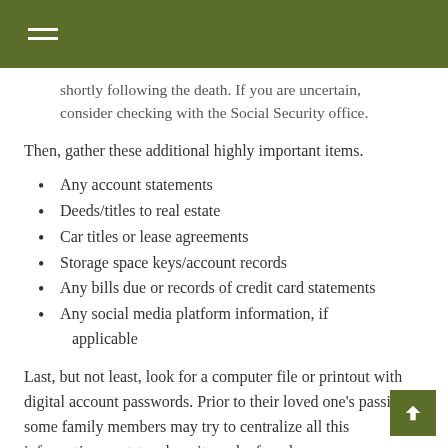[hamburger menu icon]
shortly following the death. If you are uncertain, consider checking with the Social Security office.
Then, gather these additional highly important items.
Any account statements
Deeds/titles to real estate
Car titles or lease agreements
Storage space keys/account records
Any bills due or records of credit card statements
Any social media platform information, if applicable
Last, but not least, look for a computer file or printout with digital account passwords. Prior to their loved one's passing, some family members may try to centralize all this information or state where it can be found.
In addition, notify the employer of the deceased, if